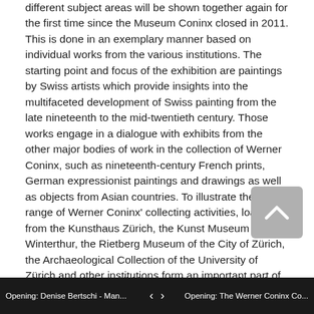different subject areas will be shown together again for the first time since the Museum Coninx closed in 2011. This is done in an exemplary manner based on individual works from the various institutions. The starting point and focus of the exhibition are paintings by Swiss artists which provide insights into the multifaceted development of Swiss painting from the late nineteenth to the mid-twentieth century. Those works engage in a dialogue with exhibits from the other major bodies of work in the collection of Werner Coninx, such as nineteenth-century French prints, German expressionist paintings and drawings as well as objects from Asian countries. To illustrate the wide range of Werner Coninx' collecting activities, loans from the Kunsthaus Zürich, the Kunst Museum Winterthur, the Rietberg Museum of the City of Zürich, the Archaeological Collection of the University of Zürich and other institutions form an important part of the exhibition. The aim is to show the collection in all its aspects, to trace the DNA of Werner Coninx' passion for collecting and take an in-depth look at the concept of a universal collection as a mirror of the history of mankind and culture.
Highlights of the exhibition include Ferdinand Hodler's (1853–
Opening: Denise Bertschi - Man...    ‹  ›    Opening: The Werner Coninx Co...